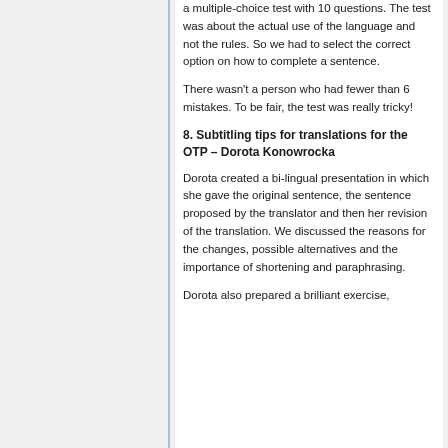a multiple-choice test with 10 questions. The test was about the actual use of the language and not the rules. So we had to select the correct option on how to complete a sentence.
There wasn't a person who had fewer than 6 mistakes. To be fair, the test was really tricky!
8. Subtitling tips for translations for the OTP – Dorota Konowrocka
Dorota created a bi-lingual presentation in which she gave the original sentence, the sentence proposed by the translator and then her revision of the translation. We discussed the reasons for the changes, possible alternatives and the importance of shortening and paraphrasing.
Dorota also prepared a brilliant exercise, consisting of a set of subtitles (EN...